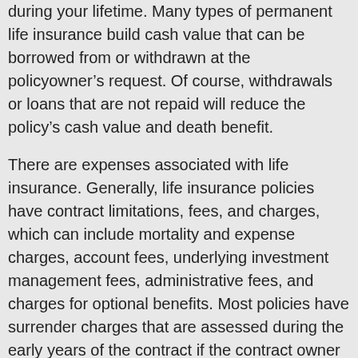during your lifetime. Many types of permanent life insurance build cash value that can be borrowed from or withdrawn at the policyowner's request. Of course, withdrawals or loans that are not repaid will reduce the policy's cash value and death benefit.
There are expenses associated with life insurance. Generally, life insurance policies have contract limitations, fees, and charges, which can include mortality and expense charges, account fees, underlying investment management fees, administrative fees, and charges for optional benefits. Most policies have surrender charges that are assessed during the early years of the contract if the contract owner surrenders the policy. Any guarantees are contingent on the financial strength and claims-paying ability of the issuing insurance company. Life insurance is not guaranteed by the FDIC or any other government